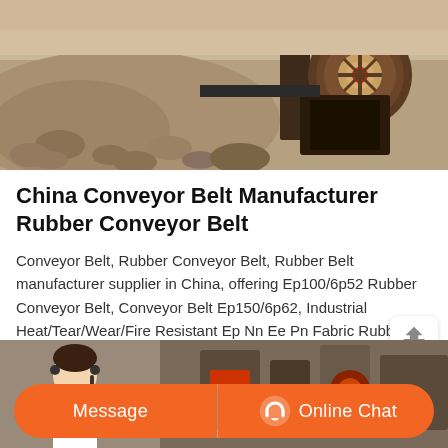[Figure (photo): Industrial conveyor belt machinery in a quarry/mining setting, showing a crusher machine surrounded by stones and gravel, with a rotating pulley mechanism visible on the right side.]
China Conveyor Belt Manufacturer Rubber Conveyor Belt
Conveyor Belt, Rubber Conveyor Belt, Rubber Belt manufacturer supplier in China, offering Ep100/6p52 Rubber Conveyor Belt, Conveyor Belt Ep150/6p62, Industrial Heat/Tear/Wear/Fire Resistant Ep Nn Ee Pn Fabric Rubber Conveyor Belt/Chevron Transmission Crusher Conveyor Belt
[Figure (photo): Bottom section showing a customer service representative with headset on the left side and industrial machinery on the right side, with an orange Message and Online Chat action bar overlay.]